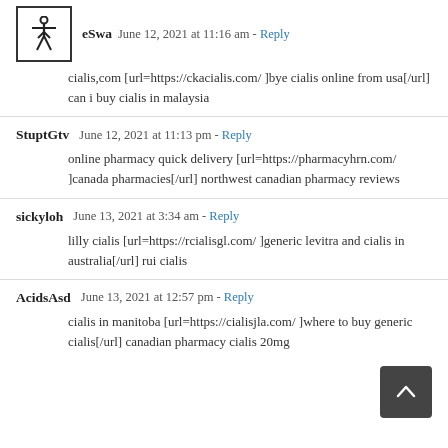eSwa  June 12, 2021 at 11:16 am - Reply
cialis,com [url=https://ckacialis.com/ ]bye cialis online from usa[/url] can i buy cialis in malaysia
StuptGtv  June 12, 2021 at 11:13 pm - Reply
online pharmacy quick delivery [url=https://pharmacyhrn.com/ ]canada pharmacies[/url] northwest canadian pharmacy reviews
sickyloh  June 13, 2021 at 3:34 am - Reply
lilly cialis [url=https://rcialisgl.com/ ]generic levitra and cialis in australia[/url] rui cialis
AcidsAsd  June 13, 2021 at 12:57 pm - Reply
cialis in manitoba [url=https://cialisjla.com/ ]where to buy generic cialis[/url] canadian pharmacy cialis 20mg